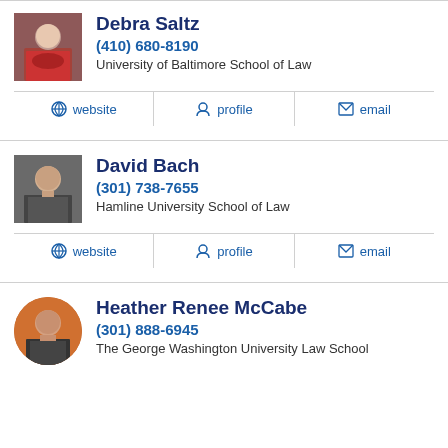Debra Saltz
(410) 680-8190
University of Baltimore School of Law
website | profile | email
David Bach
(301) 738-7655
Hamline University School of Law
website | profile | email
Heather Renee McCabe
(301) 888-6945
The George Washington University Law School